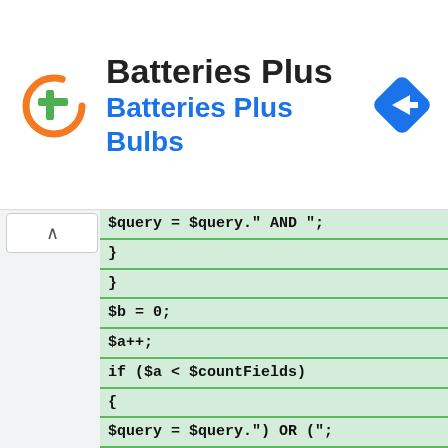[Figure (screenshot): Ad banner for Batteries Plus / Batteries Plus Bulbs with orange circular logo (green plus sign), company name in black bold, subtitle in blue, and a blue diamond navigation arrow icon on the right.]
▷
×
∧
$query = $query." AND ";
}
}
$b = 0;
$a++;
if ($a < $countFields)
{
$query = $query.") OR (";
}
}
// just make a querystring "$query",
don't actually get the query_result
here
$query = $query.")"; 
//$query_result =